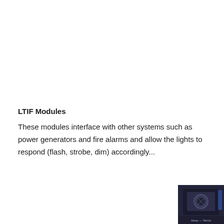LTIF Modules
These modules interface with other systems such as power generators and fire alarms and allow the lights to respond (flash, strobe, dim) accordingly...
[Figure (photo): Small dark thumbnail image in bottom-right corner, appears to show a device or module, with label text partially visible at the bottom.]